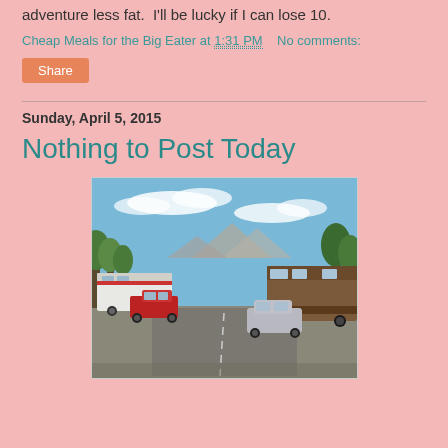adventure less fat.  I'll be lucky if I can lose 10.
Cheap Meals for the Big Eater at 1:31 PM    No comments:
Share
Sunday, April 5, 2015
Nothing to Post Today
[Figure (photo): Outdoor RV park scene with vehicles including a red truck and a silver minivan parked near large RVs/trailers, trees in background, blue sky with clouds, mountains visible in distance, asphalt road in foreground.]